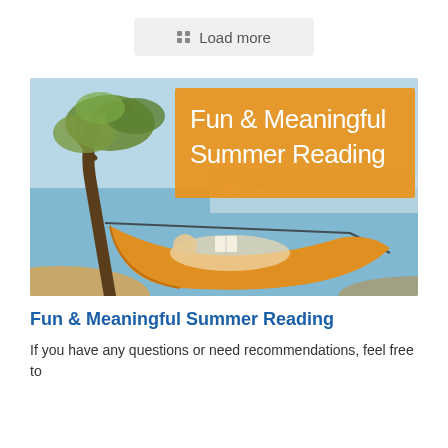⠿ Load more
[Figure (photo): Person relaxing in a yellow hammock tied to an olive tree by the sea, reading a book. Orange banner overlay with white text: Fun & Meaningful Summer Reading]
Fun & Meaningful Summer Reading
If you have any questions or need recommendations, feel free to